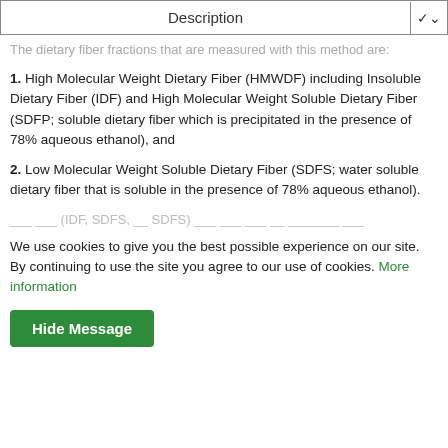| Description |  |
| --- | --- |
The dietary fiber fractions that are measured with this method are:
1. High Molecular Weight Dietary Fiber (HMWDF) including Insoluble Dietary Fiber (IDF) and High Molecular Weight Soluble Dietary Fiber (SDFP; soluble dietary fiber which is precipitated in the presence of 78% aqueous ethanol), and
2. Low Molecular Weight Soluble Dietary Fiber (SDFS; water soluble dietary fiber that is soluble in the presence of 78% aqueous ethanol).
We use cookies to give you the best possible experience on our site. By continuing to use the site you agree to our use of cookies. More information
Hide Message